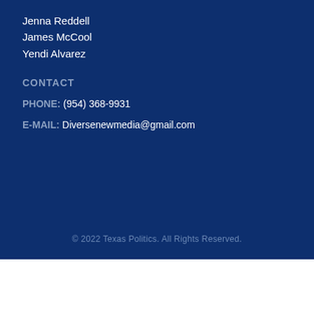Jenna Reddell
James McCool
Yendi Alvarez
CONTACT
PHONE: (954) 368-9931
E-MAIL: Diversenewmedia@gmail.com
© 2022 Texas Politics. All Rights Reserved.
[Figure (infographic): Advertisement banner for Firestone Tire Offer - Virginia Tire & Auto of Ashburn with logo and navigation arrow icon]